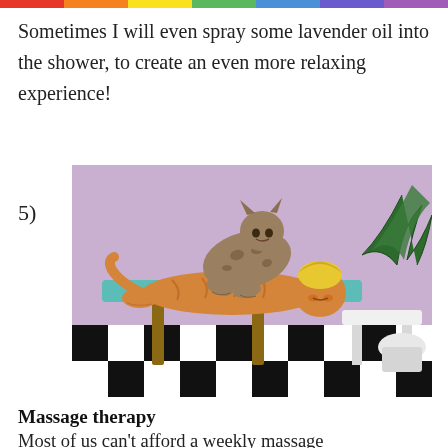Sometimes I will even spray some lavender oil into the shower, to create an even more relaxing experience!
5)
[Figure (photo): Two cats posed as if in a spa massage scene: an orange tabby cat lying on a teal massage table with a yellow towel wrapped around its head, and a spotted/tabby cat standing on its back as if giving a massage. A potted palm plant is visible in the background, and the floor has a black and white checkered pattern. The background wall is lavender/pink.]
Massage therapy
Most of us can't afford a weekly massage (or afford it at all), but that doesn't mean we can't